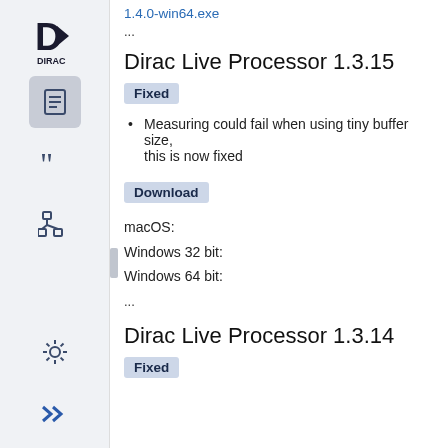1.4.0-win64.exe
...
Dirac Live Processor 1.3.15
Fixed
Measuring could fail when using tiny buffer size, this is now fixed
Download
macOS:
Windows 32 bit:
Windows 64 bit:
...
Dirac Live Processor 1.3.14
Fixed